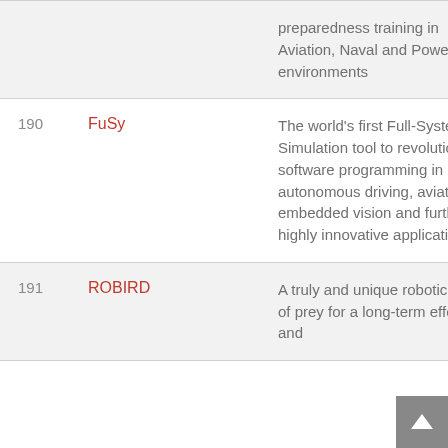| # | Name | Description |
| --- | --- | --- |
|  |  | preparedness training in Aviation, Naval and Power-grid environments |
| 190 | FuSy | The world's first Full-System Simulation tool to revolutionize software programming in autonomous driving, aviation, embedded vision and further highly innovative applications |
| 191 | ROBIRD | A truly and unique robotic bird of prey for a long-term effective and |